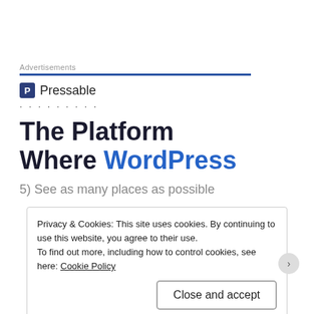Advertisements
[Figure (other): Pressable advertisement banner with logo and headline: The Platform Where WordPress]
5) See as many places as possible
Privacy & Cookies: This site uses cookies. By continuing to use this website, you agree to their use.
To find out more, including how to control cookies, see here: Cookie Policy
Close and accept